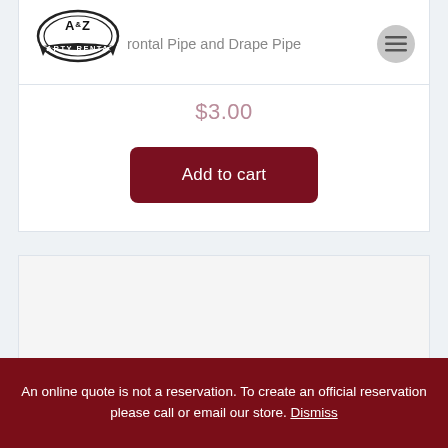A&Z Party Rental — Horizontal Pipe and Drape Pipe
$3.00
Add to cart
[Figure (photo): Bottom product card with light gray background, partially showing a product image at the bottom.]
An online quote is not a reservation. To create an official reservation please call or email our store. Dismiss